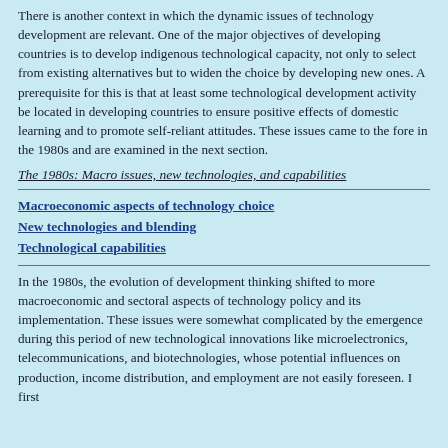There is another context in which the dynamic issues of technology development are relevant. One of the major objectives of developing countries is to develop indigenous technological capacity, not only to select from existing alternatives but to widen the choice by developing new ones. A prerequisite for this is that at least some technological development activity be located in developing countries to ensure positive effects of domestic learning and to promote self-reliant attitudes. These issues came to the fore in the 1980s and are examined in the next section.
The 1980s: Macro issues, new technologies, and capabilities
Macroeconomic aspects of technology choice
New technologies and blending
Technological capabilities
In the 1980s, the evolution of development thinking shifted to more macroeconomic and sectoral aspects of technology policy and its implementation. These issues were somewhat complicated by the emergence during this period of new technological innovations like microelectronics, telecommunications, and biotechnologies, whose potential influences on production, income distribution, and employment are not easily foreseen. I first